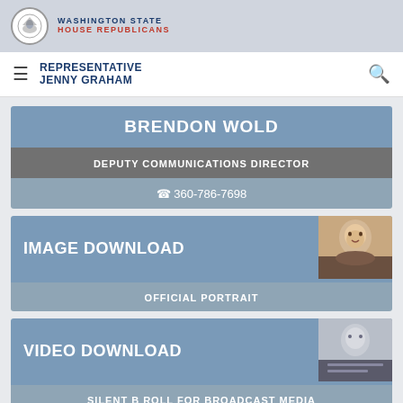WASHINGTON STATE HOUSE REPUBLICANS
REPRESENTATIVE JENNY GRAHAM
BRENDON WOLD
DEPUTY COMMUNICATIONS DIRECTOR
☎ 360-786-7698
IMAGE DOWNLOAD
OFFICIAL PORTRAIT
VIDEO DOWNLOAD
SILENT B ROLL FOR BROADCAST MEDIA
SOCIAL MEDIA